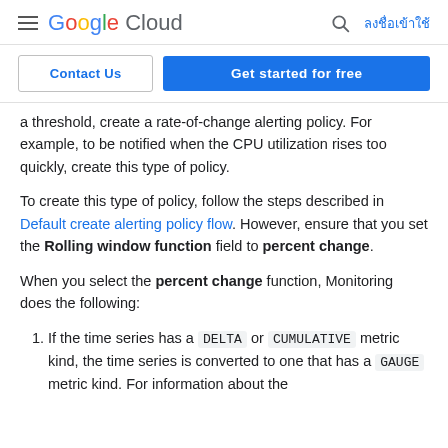Google Cloud  ลงชื่อเข้าใช้
Contact Us   Get started for free
a threshold, create a rate-of-change alerting policy. For example, to be notified when the CPU utilization rises too quickly, create this type of policy.
To create this type of policy, follow the steps described in Default create alerting policy flow. However, ensure that you set the Rolling window function field to percent change.
When you select the percent change function, Monitoring does the following:
If the time series has a DELTA or CUMULATIVE metric kind, the time series is converted to one that has a GAUGE metric kind. For information about the